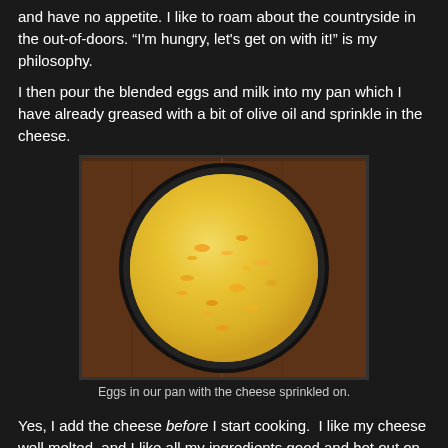and have no appetite. I like to roam about the countryside in the out-of-doors. "I'm hungry, let's get on with it!" is my philosophy.
I then pour the blended eggs and milk into my pan which I have already greased with a bit of olive oil and sprinkle in the cheese.
[Figure (photo): A round dark pan viewed from above containing blended eggs and milk with shredded cheese sprinkled on top, sitting on a wooden surface.]
Eggs in our pan with the cheese sprinkled on.
Yes, I add the cheese before I start cooking. I like my cheese well melted, and I like all my ingredients good and hot out on the trail.